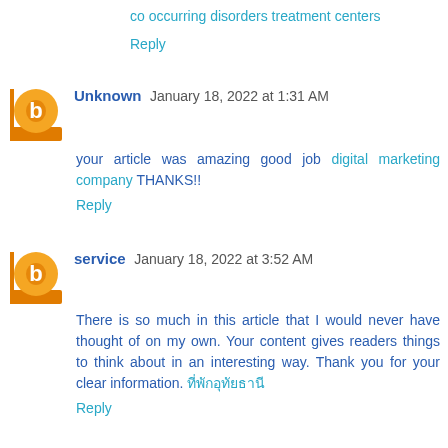co occurring disorders treatment centers
Reply
Unknown January 18, 2022 at 1:31 AM
your article was amazing good job digital marketing company THANKS!!
Reply
service January 18, 2022 at 3:52 AM
There is so much in this article that I would never have thought of on my own. Your content gives readers things to think about in an interesting way. Thank you for your clear information. ที่พักอุทัยธานี
Reply
Davidbean2 January 18, 2022 at 5:56 AM